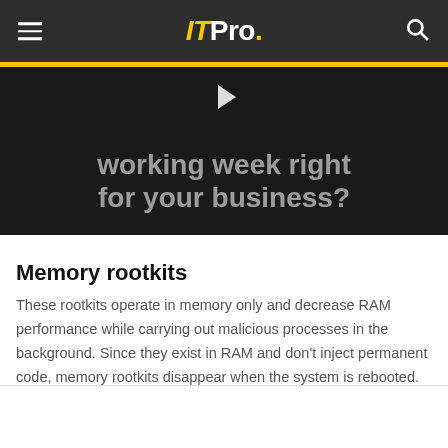IT Pro.
[Figure (screenshot): Video thumbnail with dark background showing text 'working week right for your business?' with a play icon at the top center]
Memory rootkits
These rootkits operate in memory only and decrease RAM performance while carrying out malicious processes in the background. Since they exist in RAM and don't inject permanent code, memory rootkits disappear when the system is rebooted.
Bootloader rootkit